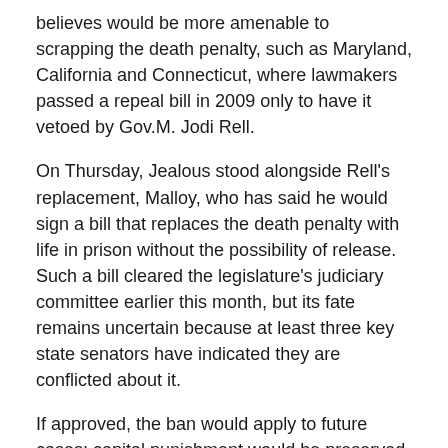believes would be more amenable to scrapping the death penalty, such as Maryland, California and Connecticut, where lawmakers passed a repeal bill in 2009 only to have it vetoed by Gov.M. Jodi Rell.
On Thursday, Jealous stood alongside Rell's replacement, Malloy, who has said he would sign a bill that replaces the death penalty with life in prison without the possibility of release. Such a bill cleared the legislature's judiciary committee earlier this month, but its fate remains uncertain because at least three key state senators have indicated they are conflicted about it.
If approved, the ban would apply to future cases; capital punishment would be preserved for the 11 men currently on death row in Connecticut. The state executed only one man in the past 50 years.